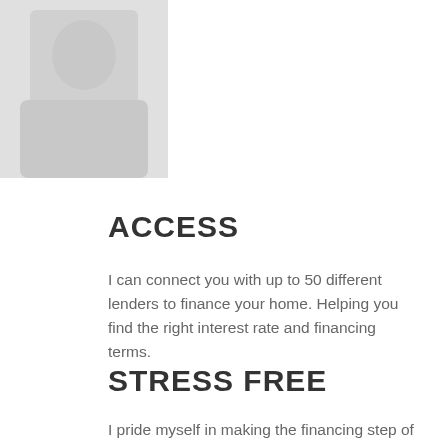[Figure (photo): Partial photo of a person, cropped at upper left corner, showing a light gray/white background image.]
ACCESS
I can connect you with up to 50 different lenders to finance your home. Helping you find the right interest rate and financing terms.
STRESS FREE
I pride myself in making the financing step of buying your home as stress-free as possible. I coach and advocate the whole way...